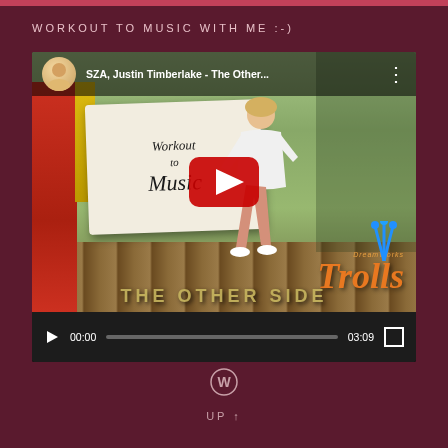WORKOUT TO MUSIC WITH ME :-)
[Figure (screenshot): YouTube video player showing 'SZA, Justin Timberlake - The Other...' with a workout to music thumbnail featuring a woman exercising and Trolls branding. Controls show 00:00 / 03:09.]
UP ↑